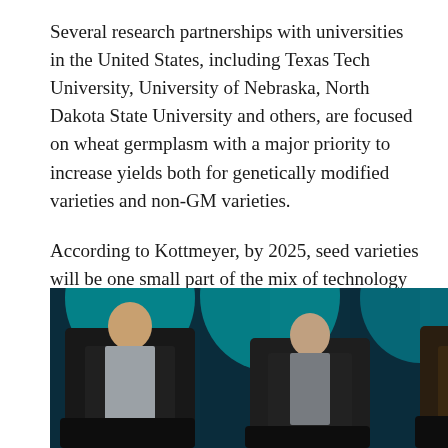Several research partnerships with universities in the United States, including Texas Tech University, University of Nebraska, North Dakota State University and others, are focused on wheat germplasm with a major priority to increase yields both for genetically modified varieties and non-GM varieties.
According to Kottmeyer, by 2025, seed varieties will be one small part of the mix of technology and science providing solutions for the farmer. “If seed is the potential for what yield may be it is data that ensures that yield is optimized and realized,” he said.
[Figure (photo): Three men seated in chairs on a stage with a teal/dark backdrop, appearing to be in a panel discussion at a conference. The man on the left is in a dark suit looking down, the middle man is bald in a dark outfit, and the right man is in a brown jacket.]